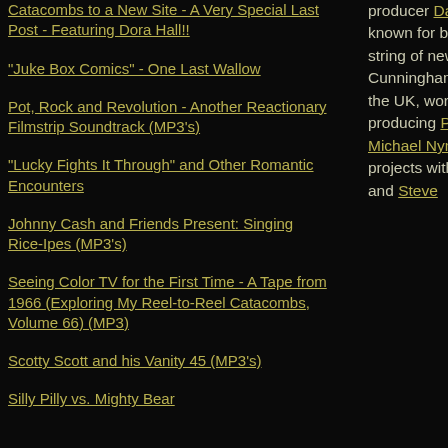Catacombs to a New Site - A Very Special Last Post - Featuring Dora Hall!!
"Juke Box Comics" - One Last Wallow
Pot, Rock and Revolution - Another Reactionary Filmstrip Soundtrack (MP3's)
"Lucky Fights It Through" and Other Romantic Encounters
Johnny Cash and Friends Present: Singing Rice-Ipes (MP3's)
Seeing Color TV for the First Time - A Tape from 1966 (Exploring My Reel-to-Reel Catacombs, Volume 66) (MP3)
Scotty Scott and his Vanity 45 (MP3's)
Silly Pilly vs. Mighty Bear
producer David Cunningham is perhaps most well known for being in The Flying Lizards, and for their string of new wave hit singles ("Money," etc). Cunningham is also a popular music producer in the UK, working with artists like This Heat and producing Peter Greenaway film scores with Michael Nyman. He's also worked on countless projects with his long-time collaborators David Toop and Steve [Beresford]. One...